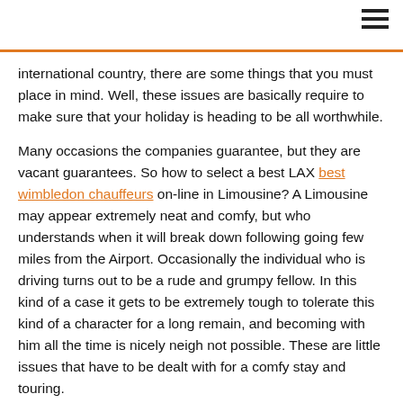international country, there are some things that you must place in mind. Well, these issues are basically require to make sure that your holiday is heading to be all worthwhile.
Many occasions the companies guarantee, but they are vacant guarantees. So how to select a best LAX best wimbledon chauffeurs on-line in Limousine? A Limousine may appear extremely neat and comfy, but who understands when it will break down following going few miles from the Airport. Occasionally the individual who is driving turns out to be a rude and grumpy fellow. In this kind of a case it gets to be extremely tough to tolerate this kind of a character for a long remain, and becoming with him all the time is nicely neigh not possible. These are little issues that have to be dealt with for a comfy stay and touring.